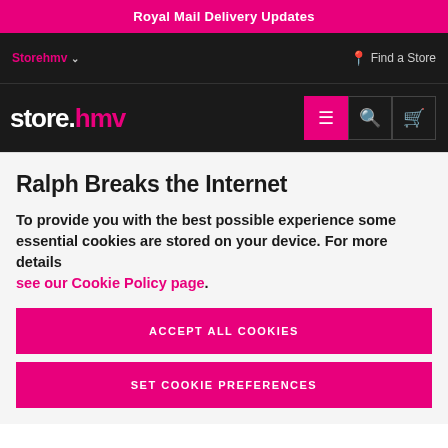Royal Mail Delivery Updates
Storehmv ∨
Find a Store
store.hmv
Ralph Breaks the Internet
To provide you with the best possible experience some essential cookies are stored on your device. For more details see our Cookie Policy page.
ACCEPT ALL COOKIES
SET COOKIE PREFERENCES